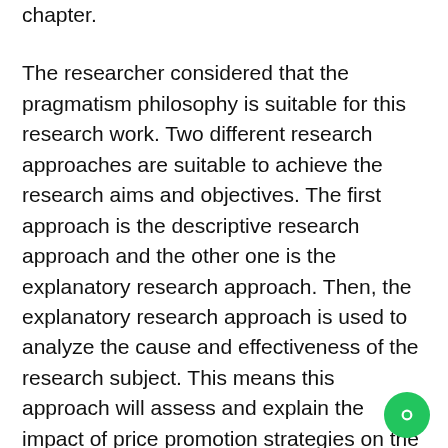chapter.
The researcher considered that the pragmatism philosophy is suitable for this research work. Two different research approaches are suitable to achieve the research aims and objectives. The first approach is the descriptive research approach and the other one is the explanatory research approach. Then, the explanatory research approach is used to analyze the cause and effectiveness of the research subject. This means this approach will assess and explain the impact of price promotion strategies on the customer perceived values in the travel industry of the UK. This study follows a deductive research approach. The reason is the researcher is familiar with the research topic and subjects and have initial knowledge and understanding. In this research work, the quantitative research approach is suitable. This is because this study focuses positivist